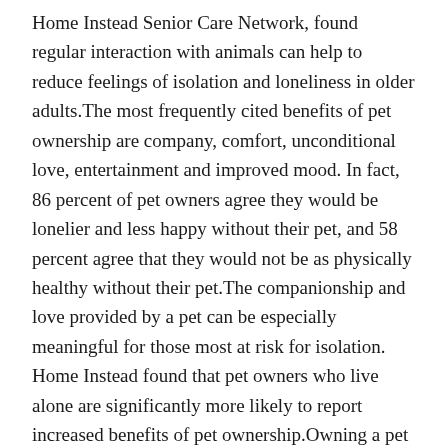Home Instead Senior Care Network, found regular interaction with animals can help to reduce feelings of isolation and loneliness in older adults.The most frequently cited benefits of pet ownership are company, comfort, unconditional love, entertainment and improved mood. In fact, 86 percent of pet owners agree they would be lonelier and less happy without their pet, and 58 percent agree that they would not be as physically healthy without their pet.The companionship and love provided by a pet can be especially meaningful for those most at risk for isolation. Home Instead found that pet owners who live alone are significantly more likely to report increased benefits of pet ownership.Owning a pet can also be an important factor for seniors deciding where they will live as they age. According to the survey, 82 percent of older adults say they will not consider moving to a senior living community without their pet.While interaction with animals has been shown to improve mental and physical well-being in older